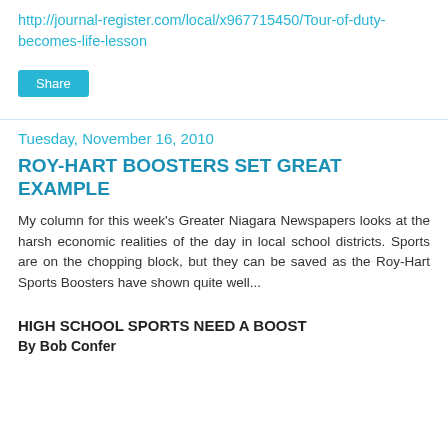http://journal-register.com/local/x967715450/Tour-of-duty-becomes-life-lesson
Share
Tuesday, November 16, 2010
ROY-HART BOOSTERS SET GREAT EXAMPLE
My column for this week's Greater Niagara Newspapers looks at the harsh economic realities of the day in local school districts. Sports are on the chopping block, but they can be saved as the Roy-Hart Sports Boosters have shown quite well...
HIGH SCHOOL SPORTS NEED A BOOST
By Bob Confer